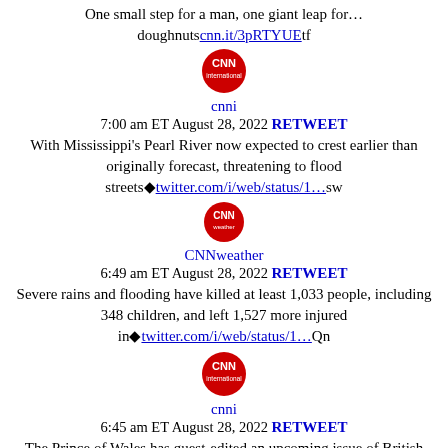One small step for a man, one giant leap for… doughnuts​cnn.it/3pRTYUEtf
[Figure (logo): CNN International circular red logo]
cnni
7:00 am ET August 28, 2022 RETWEET
With Mississippi's Pearl River now expected to crest earlier than originally forecast, threatening to flood streets�twitter.com/i/web/status/1…sw
[Figure (logo): CNN Weather circular red logo]
CNNweather
6:49 am ET August 28, 2022 RETWEET
Severe rains and flooding have killed at least 1,033 people, including 348 children, and left 1,527 more injured in�twitter.com/i/web/status/1…Qn
[Figure (logo): CNN International circular red logo]
cnni
6:45 am ET August 28, 2022 RETWEET
The Prince of Wales has guest-edited an upcoming issue of British African-Carribean newspaper The Voice to mark its�twitter.com/i/web/status/1…xE
[Figure (logo): CNN International circular red logo]
cnni
6:30 am ET August 28, 2022 RETWEET
Three Royal Netherlands Army soldiers were wounded in a shooting outside an Indianapolis hotel cnn.it/3rp357B